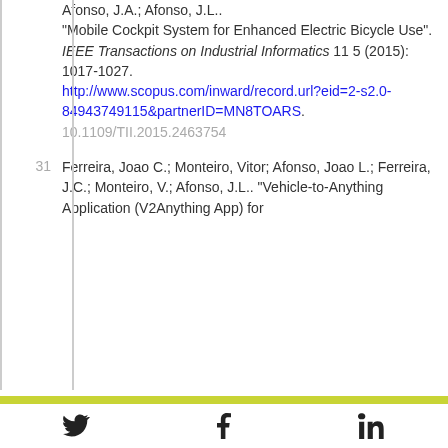Afonso, J.A.; Afonso, J.L.. "Mobile Cockpit System for Enhanced Electric Bicycle Use". IEEE Transactions on Industrial Informatics 11 5 (2015): 1017-1027. http://www.scopus.com/inward/record.url?eid=2-s2.0-84943749115&partnerID=MN8TOARS. 10.1109/TII.2015.2463754
Ferreira, Joao C.; Monteiro, Vitor; Afonso, Joao L.; Ferreira, J.C.; Monteiro, V.; Afonso, J.L.. "Vehicle-to-Anything Application (V2Anything App) for
Twitter Facebook LinkedIn